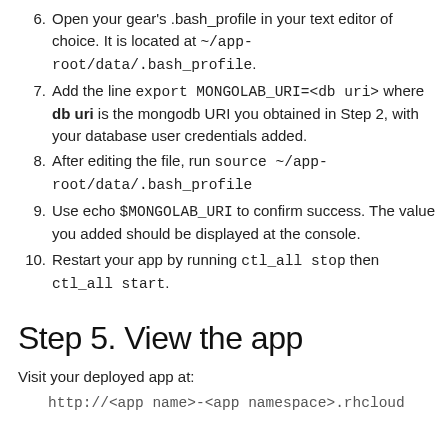6. Open your gear's .bash_profile in your text editor of choice. It is located at ~/app-root/data/.bash_profile.
7. Add the line export MONGOLAB_URI=<db uri> where db uri is the mongodb URI you obtained in Step 2, with your database user credentials added.
8. After editing the file, run source ~/app-root/data/.bash_profile
9. Use echo $MONGOLAB_URI to confirm success. The value you added should be displayed at the console.
10. Restart your app by running ctl_all stop then ctl_all start.
Step 5. View the app
Visit your deployed app at:
http://<app name>-<app namespace>.rhcloud